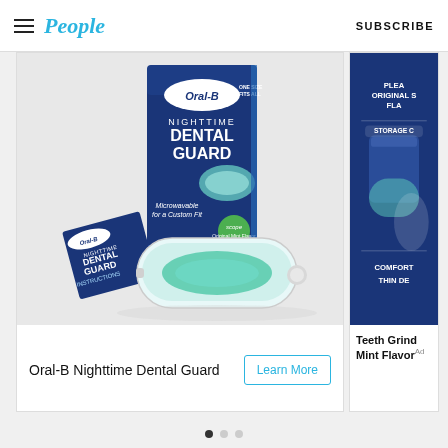People | SUBSCRIBE
[Figure (photo): Oral-B Nighttime Dental Guard product photo showing packaging box and storage case with dental guard inside]
Oral-B Nighttime Dental Guard
[Figure (photo): Partial advertisement showing Oral-B Nighttime Dental Guard with text: PLEASE ORIGINAL S... FLA... STORAGE ... COMFORT THIN DE...]
Teeth Grind Mint Flavor Ad